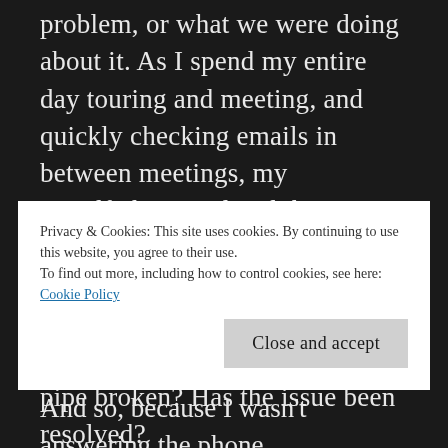problem, or what we were doing about it. As I spend my entire day touring and meeting, and quickly checking emails in between meetings, my grandfather pondered the situation at my work. Was it a break on the city side? Did we share the building with someone else? Was there a blockage? Is a pipe broken? Has the issue been resolved?
So, he began calling me.
Privacy & Cookies: This site uses cookies. By continuing to use this website, you agree to their use.
To find out more, including how to control cookies, see here:
Cookie Policy
Close and accept
And so, because I wasn't answering the phone